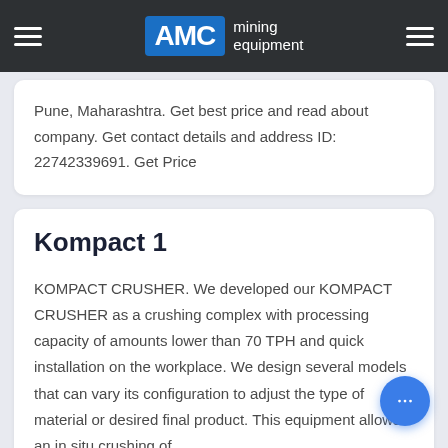AMC mining equipment
Pune, Maharashtra. Get best price and read about company. Get contact details and address ID: 22742339691. Get Price
Kompact 1
KOMPACT CRUSHER. We developed our KOMPACT CRUSHER as a crushing complex with processing capacity of amounts lower than 70 TPH and quick installation on the workplace. We design several models that can vary its configuration to adjust the type of material or desired final product. This equipment allows an in situ crushing of